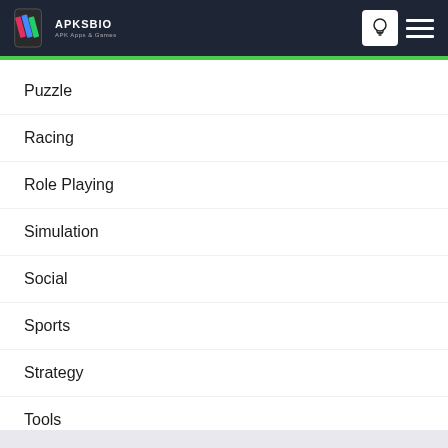APKSBIO
Puzzle
Racing
Role Playing
Simulation
Social
Sports
Strategy
Tools
Video Players & Editors